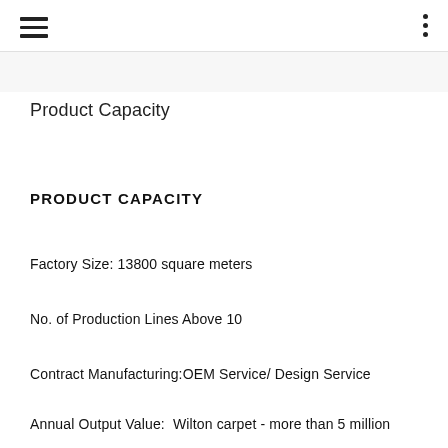≡  ⋮
Product Capacity
PRODUCT CAPACITY
Factory Size: 13800 square meters
No. of Production Lines Above 10
Contract Manufacturing:OEM Service/ Design Service
Annual Output Value:  Wilton carpet - more than 5 million